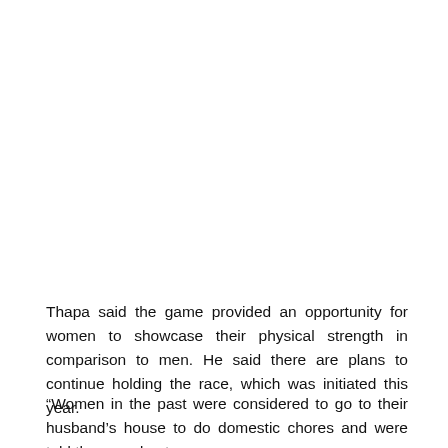Thapa said the game provided an opportunity for women to showcase their physical strength in comparison to men. He said there are plans to continue holding the race, which was initiated this year.
“Women in the past were considered to go to their husband’s house to do domestic chores and were told they need not